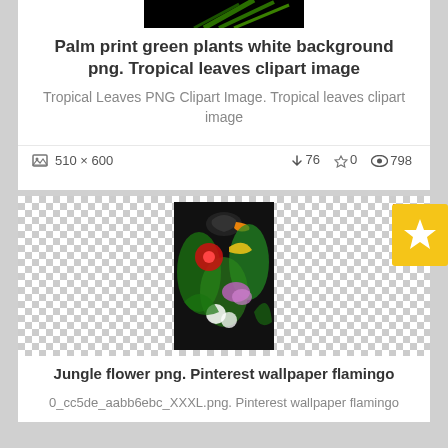[Figure (photo): Top portion of a palm/tropical leaves image on white background, partially cropped at top]
Palm print green plants white background png. Tropical leaves clipart image
Tropical Leaves PNG Clipart Image. Tropical leaves clipart image
510 x 600  76  0  798
[Figure (photo): Jungle flower arrangement with toucan bird, red hibiscus, orchids, and tropical leaves on black background]
Jungle flower png. Pinterest wallpaper flamingo
0_cc5de_aabb6ebc_XXXL.png. Pinterest wallpaper flamingo